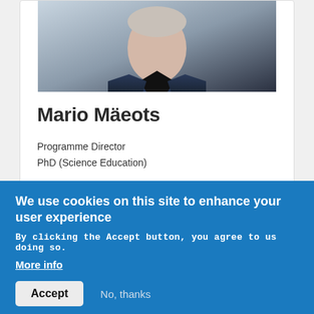[Figure (photo): Headshot photo of Mario Mäeots wearing a dark navy blazer over a black top, cropped at shoulders, light background]
Mario Mäeots
Programme Director
PhD (Science Education)
mario.maeots@ut.ee
We use cookies on this site to enhance your user experience
By clicking the Accept button, you agree to us doing so.
More info
Accept
No, thanks